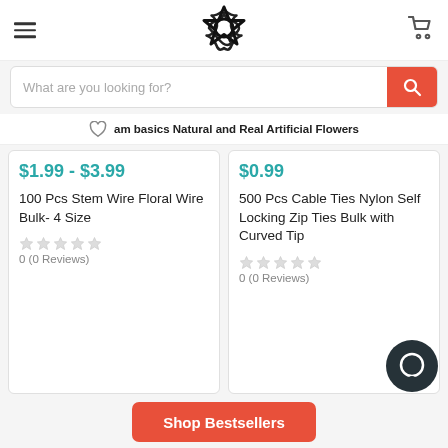[Figure (logo): Decorative flower/star logo in the page header]
What are you looking for?
am basics Natural and Real Artificial Flowers
$1.99 - $3.99
100 Pcs Stem Wire Floral Wire Bulk- 4 Size
0 (0 Reviews)
$0.99
500 Pcs Cable Ties Nylon Self Locking Zip Ties Bulk with Curved Tip
0 (0 Reviews)
Shop Bestsellers